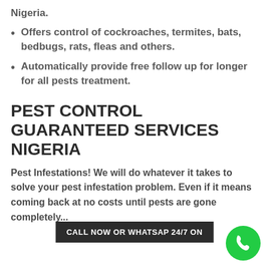Nigeria.
Offers control of cockroaches, termites, bats, bedbugs, rats, fleas and others.
Automatically provide free follow up for longer for all pests treatment.
PEST CONTROL GUARANTEED SERVICES NIGERIA
Pest Infestations! We will do whatever it takes to solve your pest infestation problem. Even if it means coming back at no costs until pests are gone completely...
CALL NOW OR WHATSAP 24/7 ON